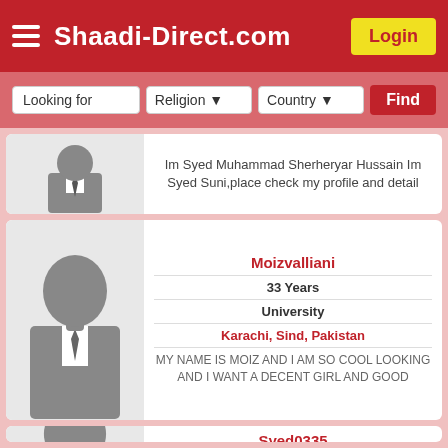Shaadi-Direct.com
Looking for   Religion   Country   Find
Im Syed Muhammad Sherheryar Hussain Im Syed Suni,place check my profile and detail
Moizvalliani
33 Years
University
Karachi, Sind, Pakistan
MY NAME IS MOIZ AND I AM SO COOL LOOKING AND I WANT A DECENT GIRL AND GOOD
Syed0335
30 Years
University